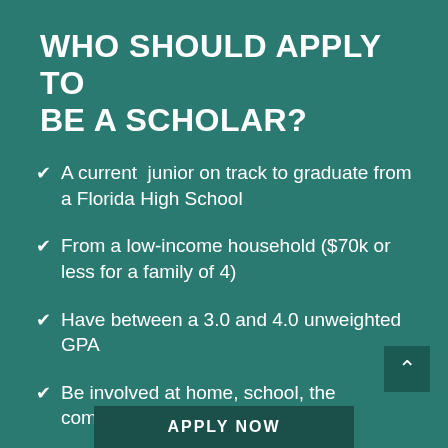WHO SHOULD APPLY TO BE A SCHOLAR?
A current junior on track to graduate from a Florida High School
From a low-income household ($70k or less for a family of 4)
Have between a 3.0 and 4.0 unweighted GPA
Be involved at home, school, the community, or hold a part-time job
APPLY NOW